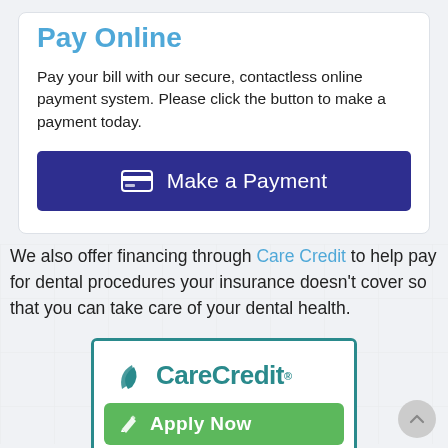Pay Online
Pay your bill with our secure, contactless online payment system. Please click the button to make a payment today.
[Figure (other): Dark navy blue button with credit card icon and text 'Make a Payment']
We also offer financing through Care Credit to help pay for dental procedures your insurance doesn't cover so that you can take care of your dental health.
[Figure (logo): CareCredit logo with teal border, green 'Apply Now' button at bottom]